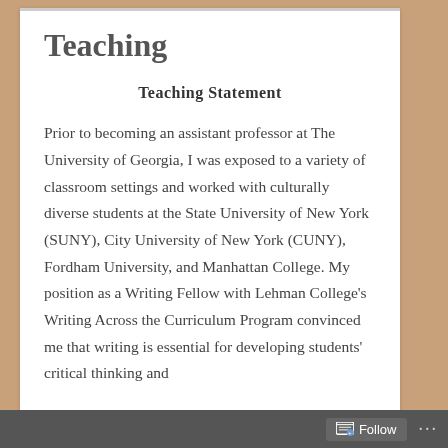Teaching
Teaching Statement
Prior to becoming an assistant professor at The University of Georgia, I was exposed to a variety of classroom settings and worked with culturally diverse students at the State University of New York (SUNY), City University of New York (CUNY), Fordham University, and Manhattan College. My position as a Writing Fellow with Lehman College's Writing Across the Curriculum Program convinced me that writing is essential for developing students' critical thinking and
Follow